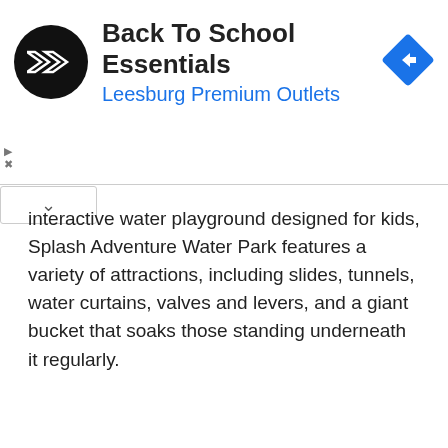[Figure (logo): Ad banner with black circular logo with infinity-like symbol, title 'Back To School Essentials', subtitle 'Leesburg Premium Outlets', and a blue diamond navigation icon on the right]
interactive water playground designed for kids, Splash Adventure Water Park features a variety of attractions, including slides, tunnels, water curtains, valves and levers, and a giant bucket that soaks those standing underneath it regularly.